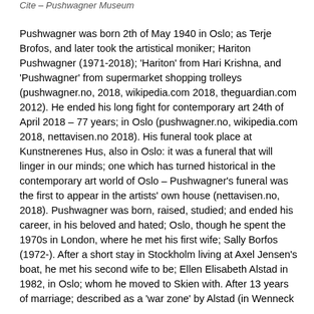Cite – Pushwagner Museum
Pushwagner was born 2th of May 1940 in Oslo; as Terje Brofos, and later took the artistical moniker; Hariton Pushwagner (1971-2018); 'Hariton' from Hari Krishna, and 'Pushwagner' from supermarket shopping trolleys (pushwagner.no, 2018, wikipedia.com 2018, theguardian.com 2012). He ended his long fight for contemporary art 24th of April 2018 – 77 years; in Oslo (pushwagner.no, wikipedia.com 2018, nettavisen.no 2018). His funeral took place at Kunstnerenes Hus, also in Oslo: it was a funeral that will linger in our minds; one which has turned historical in the contemporary art world of Oslo – Pushwagner's funeral was the first to appear in the artists' own house (nettavisen.no, 2018). Pushwagner was born, raised, studied; and ended his career, in his beloved and hated; Oslo, though he spent the 1970s in London, where he met his first wife; Sally Borfos (1972-). After a short stay in Stockholm living at Axel Jensen's boat, he met his second wife to be; Ellen Elisabeth Alstad in 1982, in Oslo; whom he moved to Skien with. After 13 years of marriage; described as a 'war zone' by Alstad (in Wenneck